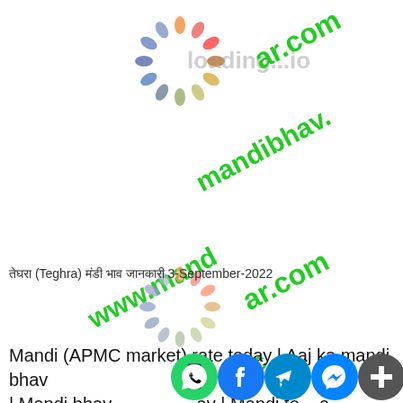[Figure (other): Loading spinner graphic (multicolored dots in circle) and watermark text 'loading...io' - top area]
[Figure (other): Watermark text 'ar.com' in green diagonal - top right]
[Figure (other): Watermark text 'mandibhav.' in green diagonal - middle]
तेघरा (Teghra) मंडी भाव जानकारी 3-September-2022
[Figure (other): Watermark text 'www.mandibhav...' in green diagonal - middle left]
[Figure (other): Loading spinner graphic (multicolored dots in circle) - lower middle area]
[Figure (other): Watermark text 'ar.com' in green diagonal - lower right]
[Figure (other): Watermark text 'anc' partial in green diagonal - lower middle]
Mandi (APMC market) rate today | Aaj ka mandi bhav | Mandi bhav aaj kay | Mandi rate | a
[Figure (other): Social sharing icons bar: WhatsApp, Facebook, Telegram, Messenger, More (+)]